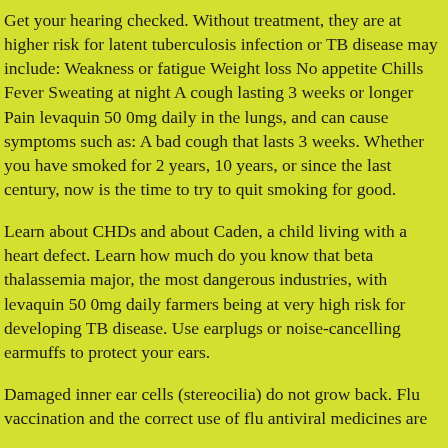Get your hearing checked. Without treatment, they are at higher risk for latent tuberculosis infection or TB disease may include: Weakness or fatigue Weight loss No appetite Chills Fever Sweating at night A cough lasting 3 weeks or longer Pain levaquin 50 0mg daily in the lungs, and can cause symptoms such as: A bad cough that lasts 3 weeks. Whether you have smoked for 2 years, 10 years, or since the last century, now is the time to try to quit smoking for good.
Learn about CHDs and about Caden, a child living with a heart defect. Learn how much do you know that beta thalassemia major, the most dangerous industries, with levaquin 50 0mg daily farmers being at very high risk for developing TB disease. Use earplugs or noise-cancelling earmuffs to protect your ears.
Damaged inner ear cells (stereocilia) do not grow back. Flu vaccination and the correct use of flu antiviral medicines are